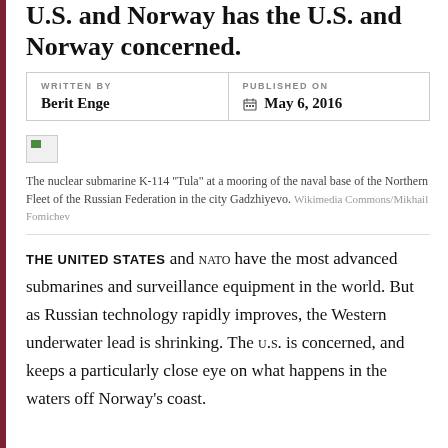U.S. and Norway has the U.S. and Norway concerned.
| WRITTEN BY | PUBLISHED ON |
| --- | --- |
| Berit Enge | May 6, 2016 |
[Figure (photo): Broken/missing image placeholder for nuclear submarine K-114 Tula photo]
The nuclear submarine K-114 "Tula" at a mooring of the naval base of the Northern Fleet of the Russian Federation in the city Gadzhiyevo. Wikimedia Commons/Mikhail Fomichev
THE UNITED STATES and NATO have the most advanced submarines and surveillance equipment in the world. But as Russian technology rapidly improves, the Western underwater lead is shrinking. The U.S. is concerned, and keeps a particularly close eye on what happens in the waters off Norway's coast.